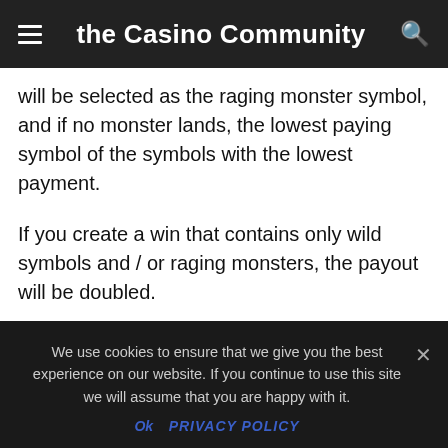the Casino Community
will be selected as the raging monster symbol, and if no monster lands, the lowest paying symbol of the symbols with the lowest payment.
If you create a win that contains only wild symbols and / or raging monsters, the payout will be doubled.
If you want to take advantage of the free spins feature right away, you can use the bonus purchase feature. Pay 75 times the wager and then activate the bonus game and you can start with up to 20 free spins. Using the bonus
We use cookies to ensure that we give you the best experience on our website. If you continue to use this site we will assume that you are happy with it.
Ok   Privacy policy